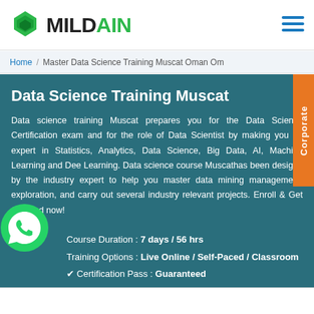MILDAIN
Home / Master Data Science Training Muscat Oman Om
Data Science Training Muscat
Data science training Muscat prepares you for the Data Science Certification exam and for the role of Data Scientist by making you an expert in Statistics, Analytics, Data Science, Big Data, AI, Machine Learning and Deep Learning. Data science course Muscathas been designed by the industry expert to help you master data mining, management, exploration, and carry out several industry relevant projects. Enroll & Get Certified now!
Course Duration : 7 days / 56 hrs
Training Options : Live Online / Self-Paced / Classroom
✔ Certification Pass : Guaranteed